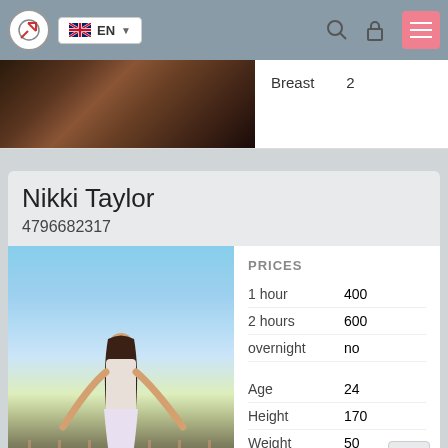EN navigation bar with logo, language selector, search, lock, and menu icons
[Figure (photo): Partial photo (top cropped) showing a dark/blurred image on the left side, with Breast 2 info on the right]
Breast   2
Nikki Taylor
4796682317
[Figure (photo): Photo of a woman with long dark hair in a white striped dress standing at a railing with blue sky background, watermarked MARQ-Castillo]
|  |  |
| --- | --- |
| PRICES |  |
| 1 hour | 400 |
| 2 hours | 600 |
| overnight | no |
| Age | 24 |
| Height | 170 |
| Weight | 50 |
| Breast | 3 |